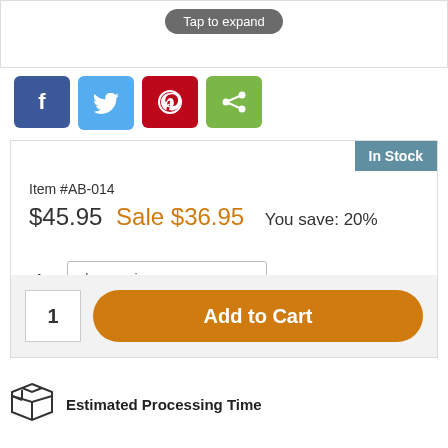[Figure (screenshot): Tap to expand button on white product image area]
[Figure (infographic): Social share buttons: Facebook (blue), Twitter (light blue), Pinterest (red), Share (green)]
In Stock
Item #AB-014
$45.95 Sale $36.95 You save: 20%
size  choose size  * inner circumference
1  Add to Cart
Estimated Processing Time